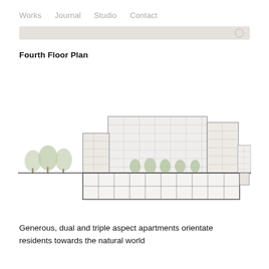Works  Journal  Studio  Contact
Fourth Floor Plan
[Figure (engineering-diagram): Architectural section/elevation drawing of a multi-storey residential building. The drawing shows a cross-section view with multiple floors, curtain-wall glazing facade, internal floor plates, trees at ground level and on terrace, and a lower basement/podium level. A smaller building is visible to the right. Trees are shown to the left of the main building.]
Generous, dual and triple aspect apartments orientate residents towards the natural world